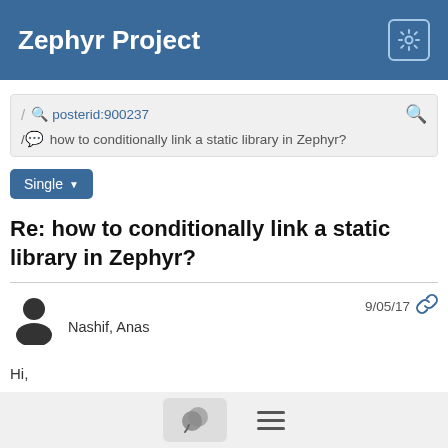Zephyr Project
/ posterid:900237
/ how to conditionally link a static library in Zephyr?
Single
Re: how to conditionally link a static library in Zephyr?
Nashif, Anas — 9/05/17
Hi,
The Kconfig options (macro) you define need to be included (sourced) in the overall Kconfig structure of zephyr, just adding